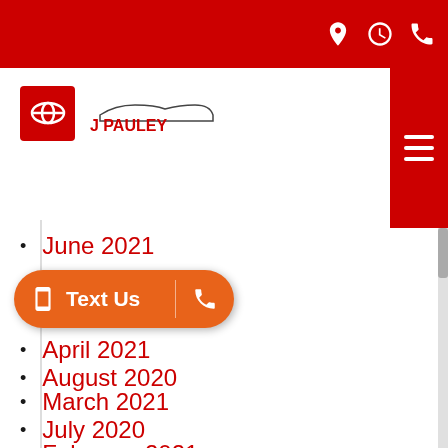[Figure (logo): J Pauley Toyota dealership logo with Toyota emblem on red background]
June 2021
May 2021
April 2021
March 2021
February 2021
January 2021
December 2020
November 2020
October 2020
August 2020
July 2020
June 2020
May 2020
April 2020